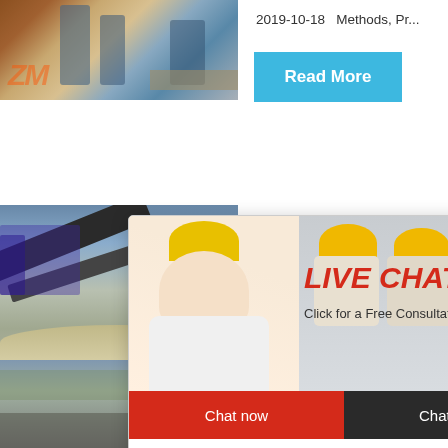[Figure (photo): Industrial mining/crushing equipment facility with machinery and silos, with ZM logo watermark]
2019-10-18   Methods, Pr...
[Figure (illustration): Read More button in sky blue]
[Figure (photo): Conveyor belt and open mine/quarry scene with rubble]
[Figure (screenshot): Live Chat popup overlay with woman and workers in hard hats, Chat now and Chat later buttons]
LIVE CHAT
Click for a Free Consultation
Chat now
Chat later
Read
t
hour online
[Figure (photo): Industrial crusher machine (jaw crusher) in gray tones]
Click me to chat>>
Enquiry
limingjlmofen
[Figure (photo): Dusty quarry or cement production site photo]
CEMEN
PRODU
QUAL...